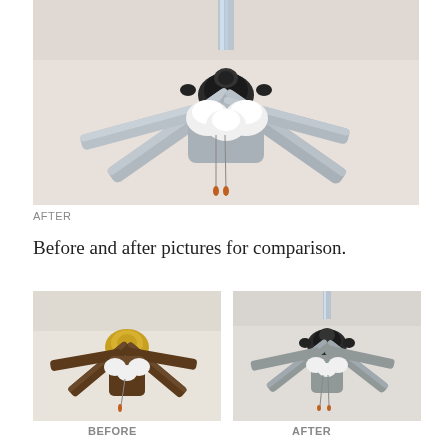[Figure (photo): Ceiling fan with gray/white painted blades and light fixture with pull chains, viewed from below, after renovation]
AFTER
Before and after pictures for comparison.
[Figure (photo): Before photo: ceiling fan with dark brown wooden blades and gold/brass center hub with light fixture]
[Figure (photo): After photo: ceiling fan with gray/white painted blades and dark hub, light fixture with pull chains]
BEFORE
AFTER